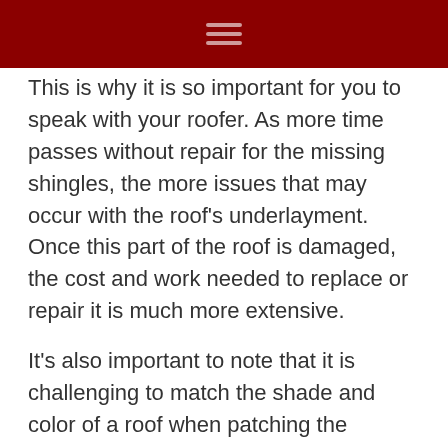This is why it is so important for you to speak with your roofer. As more time passes without repair for the missing shingles, the more issues that may occur with the roof's underlayment. Once this part of the roof is damaged, the cost and work needed to replace or repair it is much more extensive.
It's also important to note that it is challenging to match the shade and color of a roof when patching the shingles – especially if your home's roof is over a few years old. You may be able to see the patched shingles, but